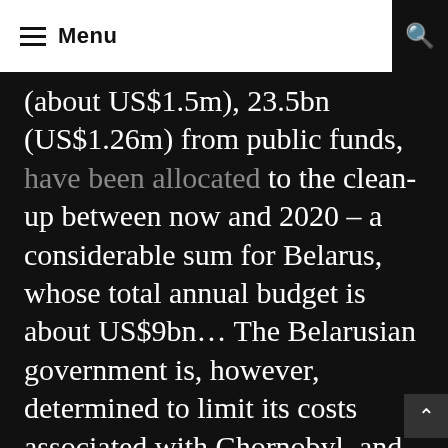Menu
(about US$1.5m), 23.5bn (US$1.26m) from public funds, have been allocated to the clean-up between now and 2020 – a considerable sum for Belarus, whose total annual budget is about US$9bn… The Belarusian government is, however, determined to limit its costs associated with Chornobyl, and each year